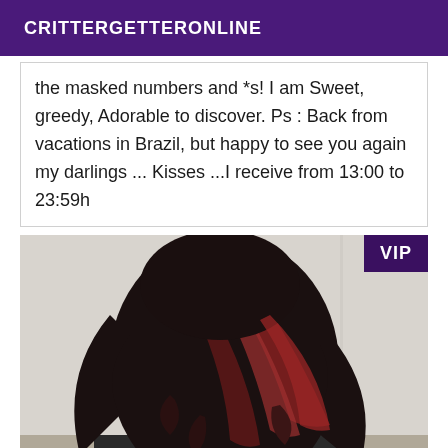CRITTERGETTERONLINE
the masked numbers and *s! I am Sweet, greedy, Adorable to discover. Ps : Back from vacations in Brazil, but happy to see you again my darlings ... Kisses ...I receive from 13:00 to 23:59h
[Figure (photo): A person photographed from behind showing dark hair with red/burgundy highlights, wearing a dark jacket with a pink/red stripe, standing in a room with white walls.]